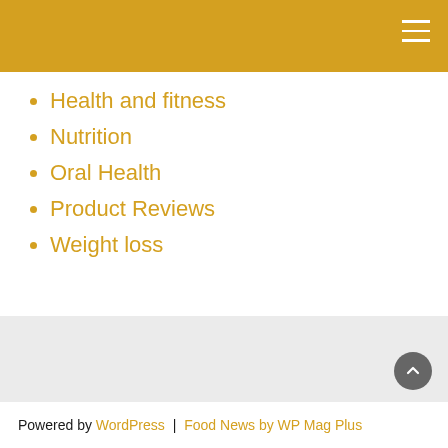Health and fitness
Nutrition
Oral Health
Product Reviews
Weight loss
Powered by WordPress | Food News by WP Mag Plus